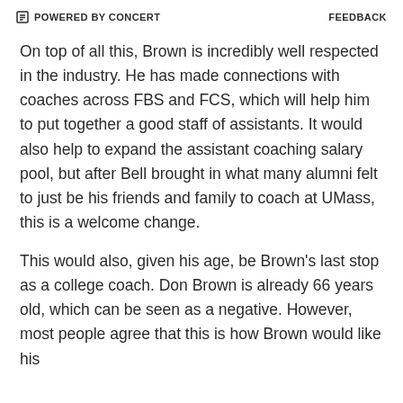POWERED BY CONCERT   FEEDBACK
On top of all this, Brown is incredibly well respected in the industry. He has made connections with coaches across FBS and FCS, which will help him to put together a good staff of assistants. It would also help to expand the assistant coaching salary pool, but after Bell brought in what many alumni felt to just be his friends and family to coach at UMass, this is a welcome change.
This would also, given his age, be Brown's last stop as a college coach. Don Brown is already 66 years old, which can be seen as a negative. However, most people agree that this is how Brown would like his